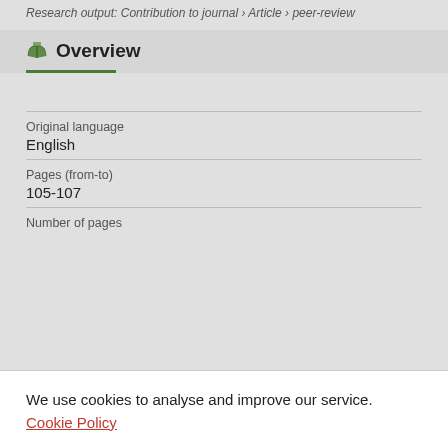Research output: Contribution to journal › Article › peer-review
Overview
Original language
English
Pages (from-to)
105-107
Number of pages
We use cookies to analyse and improve our service. Cookie Policy